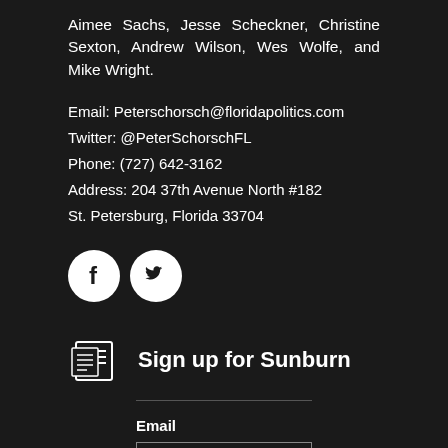Aimee Sachs, Jesse Scheckner, Christine Sexton, Andrew Wilson, Wes Wolfe, and Mike Wright.
Email: Peterschorsch@floridapolitics.com
Twitter: @PeterSchorschFL
Phone: (727) 642-3162
Address: 204 37th Avenue North #182
St. Petersburg, Florida 33704
[Figure (logo): Facebook and Twitter social media icon circles (white icons on white circular backgrounds)]
Sign up for Sunburn
Email